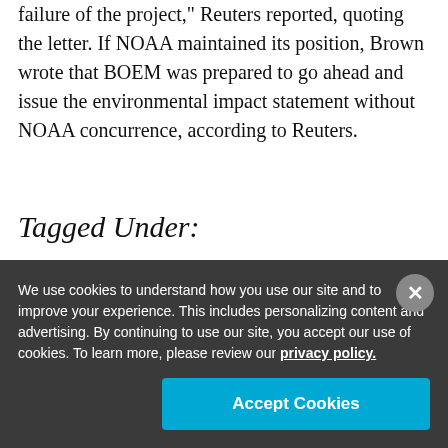failure of the project," Reuters reported, quoting the letter. If NOAA maintained its position, Brown wrote that BOEM was prepared to go ahead and issue the environmental impact statement without NOAA concurrence, according to Reuters.
Tagged Under:
New England Fishery Management Council
We use cookies to understand how you use our site and to improve your experience. This includes personalizing content and advertising. By continuing to use our site, you accept our use of cookies. To learn more, please review our privacy policy.
Accept Cookies